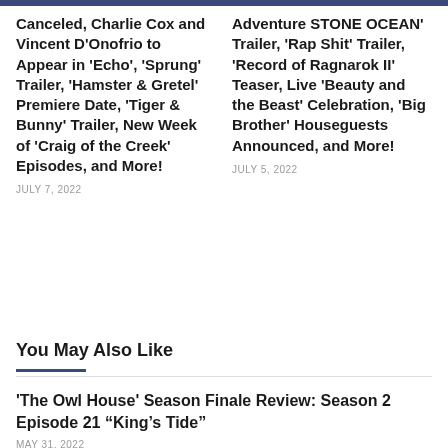Canceled, Charlie Cox and Vincent D'Onofrio to Appear in 'Echo', 'Sprung' Trailer, 'Hamster & Gretel' Premiere Date, 'Tiger & Bunny' Trailer, New Week of 'Craig of the Creek' Episodes, and More!
JULY 7, 2022
Adventure STONE OCEAN' Trailer, 'Rap Shit' Trailer, 'Record of Ragnarok II' Teaser, Live 'Beauty and the Beast' Celebration, 'Big Brother' Houseguests Announced, and More!
JULY 5, 2022
You May Also Like
'The Owl House' Season Finale Review: Season 2 Episode 21 “King’s Tide”
MAY 31, 2022